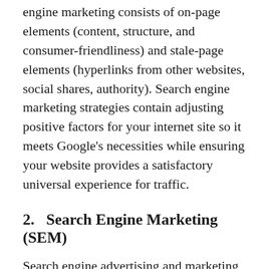engine marketing consists of on-page elements (content, structure, and consumer-friendliness) and stale-page elements (hyperlinks from other websites, social shares, authority). Search engine marketing strategies contain adjusting positive factors for your internet site so it meets Google's necessities while ensuring your website provides a satisfactory universal experience for traffic.
2.   Search Engine Marketing (SEM)
Search engine advertising and marketing or SEM is the procedure of the use of paid search (Pay Per Click ads) to advantage internet site visitors. In the past, SEM turned into used as an umbrella term that encompassed search engine marketing and